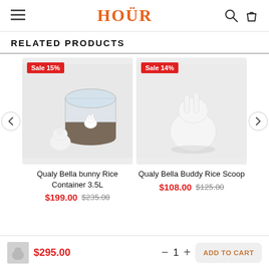HOÜR — navigation header with hamburger menu, logo, search and bag icons
RELATED PRODUCTS
[Figure (photo): Qualy Bella bunny Rice Container 3.5L product photo — two white rabbit figurines with a glass cylindrical container filled with dark grains; Sale 15% badge]
Qualy Bella bunny Rice Container 3.5L
$199.00  $235.00
[Figure (photo): Qualy Bella Buddy Rice Scoop product photo — single white ceramic rabbit figurine on light background; Sale 14% badge]
Qualy Bella Buddy Rice Scoop
$108.00  $125.00
$295.00  −  1  +  ADD TO CART